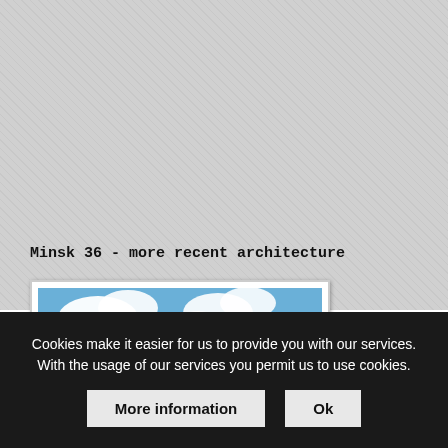[Figure (photo): Framed photograph of Minsk cityscape showing a park with a path, green lawn, trees, and modern white buildings in the background under a blue cloudy sky]
Minsk 36 - more recent architecture
Cookies make it easier for us to provide you with our services. With the usage of our services you permit us to use cookies.
More information
Ok